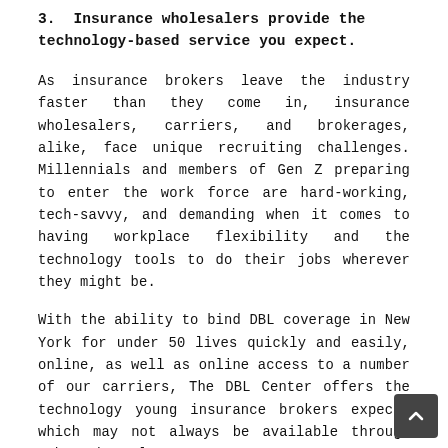3. Insurance wholesalers provide the technology-based service you expect.
As insurance brokers leave the industry faster than they come in, insurance wholesalers, carriers, and brokerages, alike, face unique recruiting challenges. Millennials and members of Gen Z preparing to enter the work force are hard-working, tech-savvy, and demanding when it comes to having workplace flexibility and the technology tools to do their jobs wherever they might be.
With the ability to bind DBL coverage in New York for under 50 lives quickly and easily, online, as well as online access to a number of our carriers, The DBL Center offers the technology young insurance brokers expect, which may not always be available through other channels.